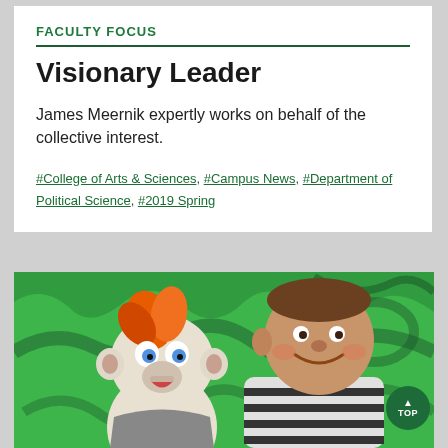FACULTY FOCUS
Visionary Leader
James Meernik expertly works on behalf of the collective interest.
#College of Arts & Sciences, #Campus News, #Department of Political Science, #2019 Spring
[Figure (photo): A smiling man in a black-and-white striped shirt posing with a monkey hand puppet with orange hair, against a bright green graffiti background.]